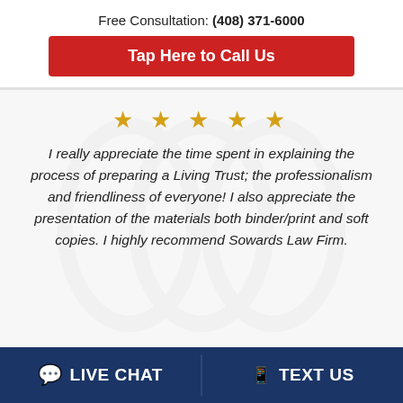Free Consultation: (408) 371-6000
Tap Here to Call Us
[Figure (other): Five gold star rating icons]
I really appreciate the time spent in explaining the process of preparing a Living Trust; the professionalism and friendliness of everyone! I also appreciate the presentation of the materials both binder/print and soft copies. I highly recommend Sowards Law Firm.
LIVE CHAT   TEXT US